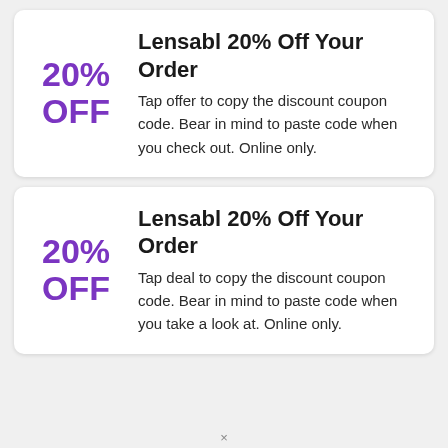Lensabl 20% Off Your Order
Tap offer to copy the discount coupon code. Bear in mind to paste code when you check out. Online only.
Lensabl 20% Off Your Order
Tap deal to copy the discount coupon code. Bear in mind to paste code when you take a look at. Online only.
×